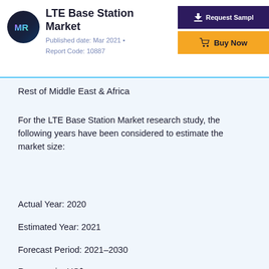LTE Base Station Market
Published date: Mar 2021 • Report Code: 10887
Rest of Middle East & Africa
For the LTE Base Station Market research study, the following years have been considered to estimate the market size:
Actual Year: 2020
Estimated Year: 2021
Forecast Period: 2021–2030
Revenue in: US$